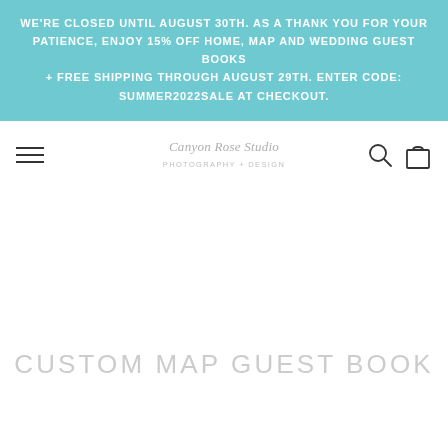WE'RE CLOSED UNTIL AUGUST 30TH. AS A THANK YOU FOR YOUR PATIENCE, ENJOY 15% OFF HOME, MAP AND WEDDING GUEST BOOKS + FREE SHIPPING THROUGH AUGUST 29TH. ENTER CODE: SUMMER2022SALE AT CHECKOUT.
[Figure (logo): Canyon Rose Studio script logo in light gray italic text]
CUSTOM MAP GUEST BOOK